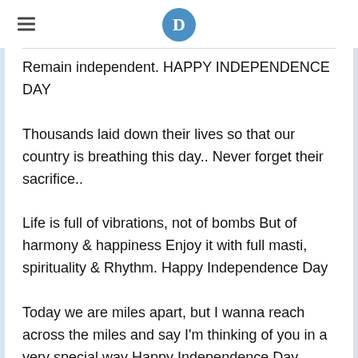D
Remain independent. HAPPY INDEPENDENCE DAY
Thousands laid down their lives so that our country is breathing this day.. Never forget their sacrifice..
Life is full of vibrations, not of bombs But of harmony & happiness Enjoy it with full masti, spirituality & Rhythm. Happy Independence Day
Today we are miles apart, but I wanna reach across the miles and say I'm thinking of you in a very special way Happy Independence Day..